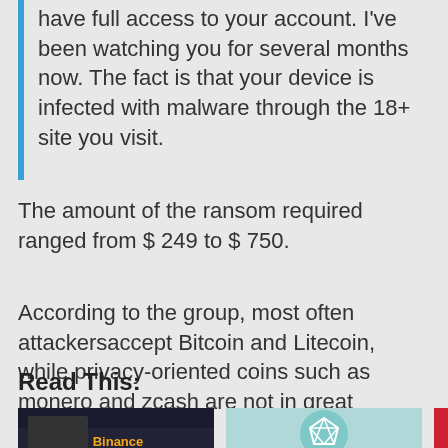have full access to your account. I've been watching you for several months now. The fact is that your device is infected with malware through the 18+ site you visit.
The amount of the ransom required ranged from $ 249 to $ 750.
According to the group, most often attackersaccept Bitcoin and Litecoin, while privacy-oriented coins such as monero and zcash are not in great demand.
Read This:
[Figure (photo): Three thumbnail images: Binance logo/brand image, a circular teal icon with geometric shape, and a red/gold Bitcoin-related image]